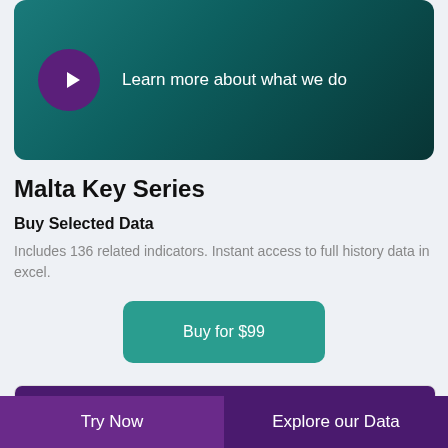[Figure (photo): Video banner with dark teal background showing a play button and text 'Learn more about what we do']
Malta Key Series
Buy Selected Data
Includes 136 related indicators. Instant access to full history data in excel.
Buy for $99
| COUNTRY/REGION | LAST |
| --- | --- |
| Forecast: GDP PPP Per | 71,296.692 |
Try Now   Explore our Data